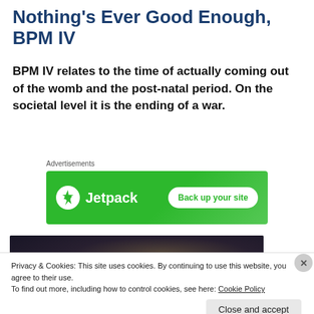Nothing's Ever Good Enough, BPM IV
BPM IV relates to the time of actually coming out of the womb and the post-natal period. On the societal level it is the ending of a war.
Advertisements
[Figure (other): Jetpack advertisement banner with green background, Jetpack logo and 'Back up your site' button]
[Figure (photo): Dark photo showing a person, partially visible]
Privacy & Cookies: This site uses cookies. By continuing to use this website, you agree to their use.
To find out more, including how to control cookies, see here: Cookie Policy
Close and accept